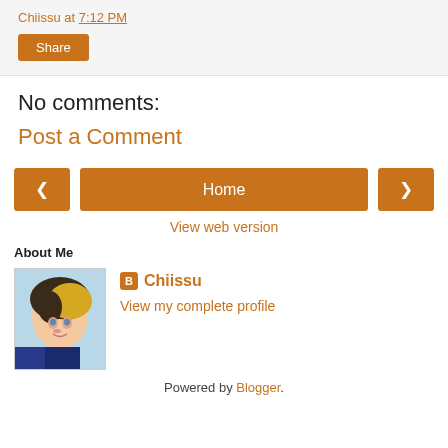Chiissu at 7:12 PM
Share
No comments:
Post a Comment
‹   Home   ›
View web version
About Me
[Figure (photo): Profile photo of Chiissu — animated character with blonde and dark hair]
Chiissu
View my complete profile
Powered by Blogger.